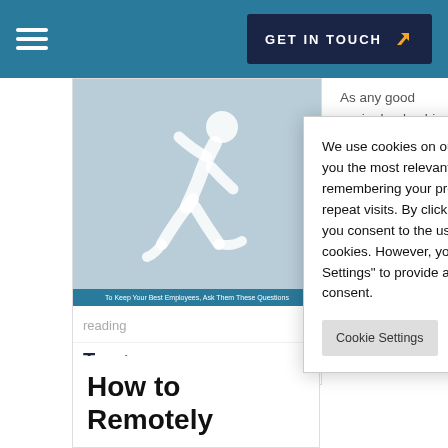GET IN TOUCH
[Figure (illustration): Running person silhouette icon on light blue background with caption 'To Keep Your Best Employees, Ask Them These Questions']
As any good senior leadership tea knows, employees are an organis most important asset. Not only do provide the skills and knowledge necessary to get the job done, but also contribute to the overall cultu workplace. Therefore, it is importa
reading
Talent
We use cookies on our website to give you the most relevant experience by remembering your preferences and repeat visits. By clicking "Accept All", you consent to the use of ALL the cookies. However, you may visit "Cookie Settings" to provide a controlled consent.
Cookie Settings
Accept All
How to Remotely